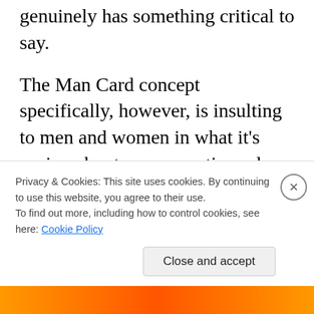as out going mistaken for someone who genuinely has something critical to say.
The Man Card concept specifically, however, is insulting to men and women in what it's saying about our respective roles. Men are supposed be this way, not that way. Do these things, not those things. You're not a man if you don't fit society's (or some section thereof's) definition of one, and, unfortunately, people who joke this way are
Privacy & Cookies: This site uses cookies. By continuing to use this website, you agree to their use.
To find out more, including how to control cookies, see here: Cookie Policy
Close and accept